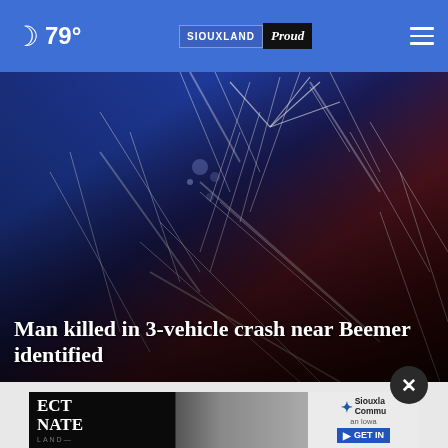🌙 79° SIOUXLAND Proud
[Figure (photo): Close-up of shattered or cracked glass with scratch marks, dark blue and dark red/maroon gradient background suggesting emergency lighting at a crash scene. White scratch-like lines across the surface.]
Man killed in 3-vehicle crash near Beemer identified
[Figure (photo): Partial advertisement banner at bottom showing text 'ECT NATE LAND' on left, a partial photo of hands in the middle, and Siouxland Community text with GET IN button on right, with a close (X) button overlay.]